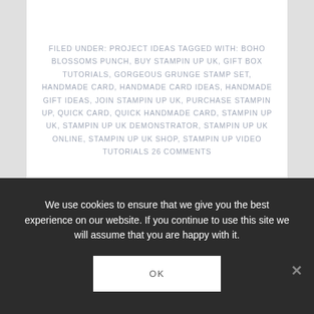FILED UNDER: PROJECT IDEAS TAGGED WITH: BOHO BLOSSOMS PUNCH, BUY STAMPIN UP UK, GIFT BOX TUTORIALS, GORGEOUS GRUNGE STAMP SET, HANDMADE CARD, HANDMADE CARD IDEAS, HANDMADE GIFT IDEAS, JOIN STAMPIN UP UK, PURCHASE STAMPIN UP, QUICK CARD, QUICK HANDMADE CARD, STAMPIN UP UK, STAMPIN UP UK DEMONSTRATOR, STAMPIN UP UK ONLINE, STAMPIN UP UK SHOP, STAMPIN UP VIDEO TUTORIALS 26 COMMENTS
We use cookies to ensure that we give you the best experience on our website. If you continue to use this site we will assume that you are happy with it.
OK